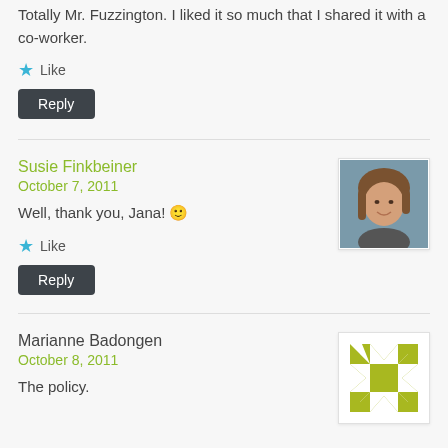Totally Mr. Fuzzington. I liked it so much that I shared it with a co-worker.
Like
Reply
Susie Finkbeiner
October 7, 2011
[Figure (photo): Profile photo of Susie Finkbeiner, a woman with brown hair]
Well, thank you, Jana! 🙂
Like
Reply
Marianne Badongen
October 8, 2011
[Figure (illustration): Yellow-green quilt star pattern icon]
The policy.